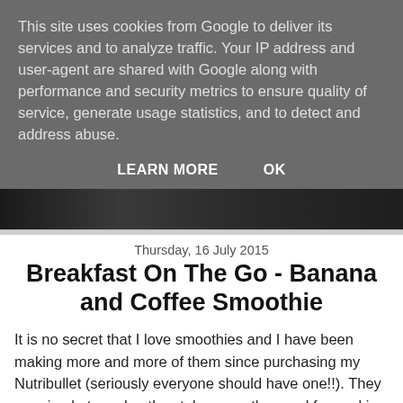This site uses cookies from Google to deliver its services and to analyze traffic. Your IP address and user-agent are shared with Google along with performance and security metrics to ensure quality of service, generate usage statistics, and to detect and address abuse.
LEARN MORE    OK
[Figure (photo): Dark background photo strip showing blurred kitchen/smoothie equipment]
Thursday, 16 July 2015
Breakfast On The Go - Banana and Coffee Smoothie
It is no secret that I love smoothies and I have been making more and more of them since purchasing my Nutribullet (seriously everyone should have one!!). They are simple to make, they take away the need for cooking sometimes and it makes sure that I actually get my 5 a day.
There are so many varied flavour combinations, the